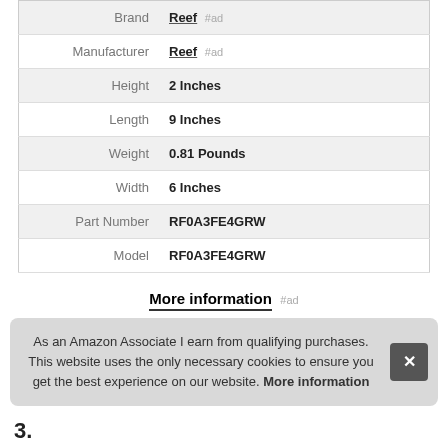|  |  |
| --- | --- |
| Brand | Reef #ad |
| Manufacturer | Reef #ad |
| Height | 2 Inches |
| Length | 9 Inches |
| Weight | 0.81 Pounds |
| Width | 6 Inches |
| Part Number | RF0A3FE4GRW |
| Model | RF0A3FE4GRW |
More information #ad
As an Amazon Associate I earn from qualifying purchases. This website uses the only necessary cookies to ensure you get the best experience on our website. More information
3.